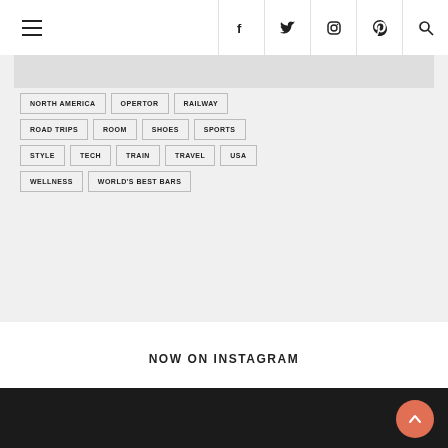Navigation header with hamburger menu and social icons: Facebook, Twitter, Instagram, Pinterest, Search
NORTH AMERICA
OPERTOR
RAILWAY
ROAD TRIPS
ROOM
SHOES
SPORTS
STYLE
TECH
TRAIN
TRAVEL
USA
WELLNESS
WORLD'S BEST BARS
NOW ON INSTAGRAM
Footer dark section with back-to-top button